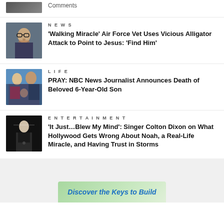[Figure (photo): Partial top thumbnail photo of a person]
Comments
[Figure (photo): Man with glasses and beard, news interview setting]
NEWS
'Walking Miracle' Air Force Vet Uses Vicious Alligator Attack to Point to Jesus: 'Find Him'
[Figure (photo): Family with children, TV studio background]
LIFE
PRAY: NBC News Journalist Announces Death of Beloved 6-Year-Old Son
[Figure (photo): Singer Colton Dixon performing on dark stage]
ENTERTAINMENT
'It Just…Blew My Mind': Singer Colton Dixon on What Hollywood Gets Wrong About Noah, a Real-Life Miracle, and Having Trust in Storms
Discover the Keys to Build